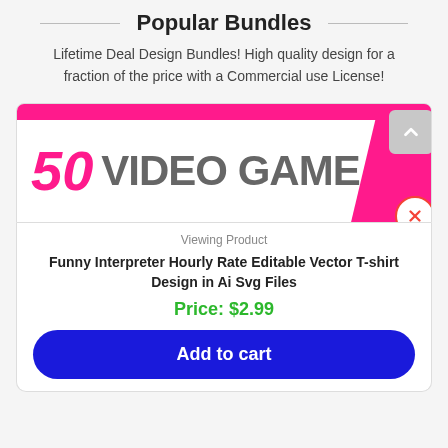Popular Bundles
Lifetime Deal Design Bundles! High quality design for a fraction of the price with a Commercial use License!
[Figure (illustration): Banner image showing '50 VIDEO GAME' text in bold, with pink/magenta top stripe and right accent, gray/dark large text on white background]
Viewing Product
Funny Interpreter Hourly Rate Editable Vector T-shirt Design in Ai Svg Files
Price: $2.99
Add to cart